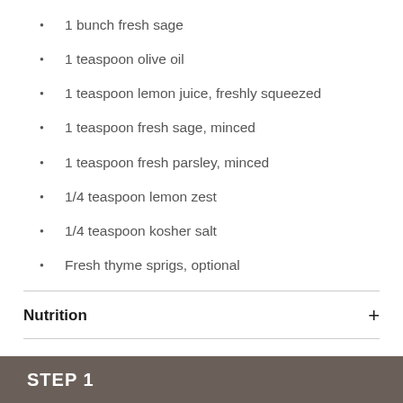1 bunch fresh sage
1 teaspoon olive oil
1 teaspoon lemon juice, freshly squeezed
1 teaspoon fresh sage, minced
1 teaspoon fresh parsley, minced
1/4 teaspoon lemon zest
1/4 teaspoon kosher salt
Fresh thyme sprigs, optional
Nutrition
STEP 1